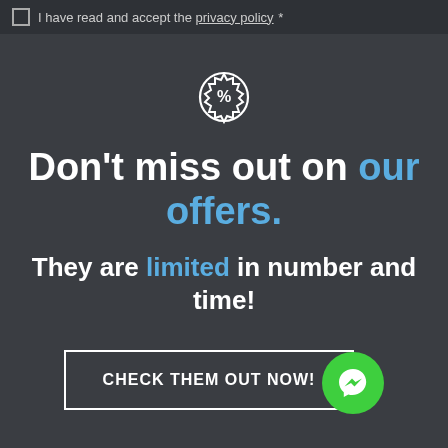I have read and accept the privacy policy *
[Figure (other): Percent badge / discount icon outline in white circle]
Don't miss out on our offers.
They are limited in number and time!
CHECK THEM OUT NOW!
[Figure (other): Green circular Messenger chat icon button]